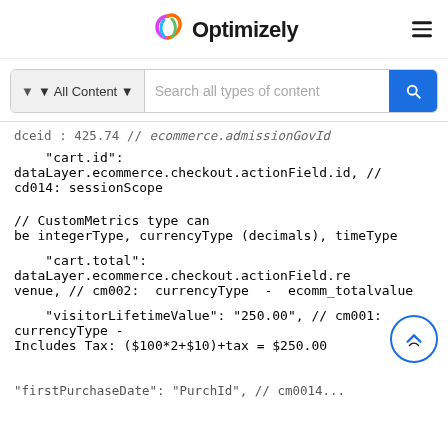[Figure (logo): Optimizely logo with colorful spiral icon and bold text 'Optimizely', plus hamburger menu icon on the right]
[Figure (screenshot): Search bar with 'All Content' filter dropdown and 'Search all types of content' placeholder, with blue search button]
"cart.id": dataLayer.ecommerce.checkout.actionField.id, // cd014: sessionScope
// CustomMetrics type can be integerType, currencyType (decimals), timeType
"cart.total": dataLayer.ecommerce.checkout.actionField.revenue, // cm002: currencyType - ecomm_totalvalue
"visitorLifetimeValue": "250.00", // cm001: currencyType - Includes Tax: ($100*2+$10)+tax = $250.00